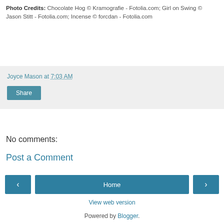Photo Credits: Chocolate Hog © Kramografie - Fotolia.com; Girl on Swing © Jason Stitt - Fotolia.com; Incense © forcdan - Fotolia.com
Joyce Mason at 7:03 AM
Share
No comments:
Post a Comment
‹ Home › View web version
Powered by Blogger.